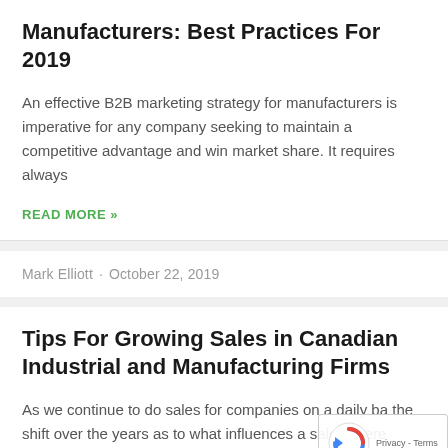Manufacturers: Best Practices For 2019
An effective B2B marketing strategy for manufacturers is imperative for any company seeking to maintain a competitive advantage and win market share. It requires always
READ MORE »
Mark Elliott  ·  October 22, 2019
Tips For Growing Sales in Canadian Industrial and Manufacturing Firms
As we continue to do sales for companies on a daily ba the shift over the years as to what influences a sale, where